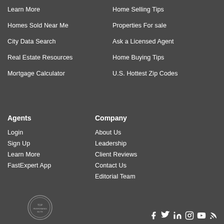Learn More
Homes Sold Near Me
City Data Search
Real Estate Resources
Mortgage Calculator
Home Selling Tips
Properties For sale
Ask a Licensed Agent
Home Buying Tips
U.S. Hottest Zip Codes
Agents
Company
Login
Sign Up
Learn More
FastExpert App
About Us
Leadership
Client Reviews
Contact Us
Editorial Team
[Figure (logo): Circular badge logo at bottom left]
[Figure (infographic): Social media icons: Facebook, Twitter, LinkedIn, Instagram, YouTube, RSS at bottom right]